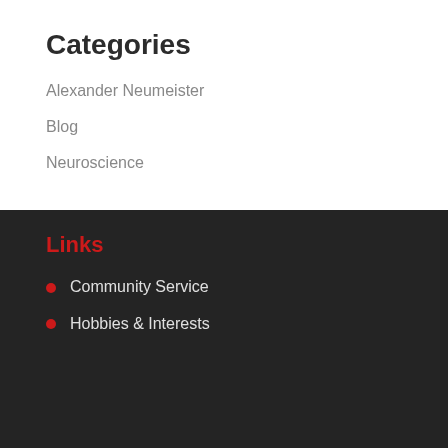Categories
Alexander Neumeister
Blog
Neuroscience
Links
Community Service
Hobbies & Interests